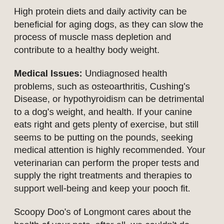High protein diets and daily activity can be beneficial for aging dogs, as they can slow the process of muscle mass depletion and contribute to a healthy body weight.
Medical Issues:  Undiagnosed health problems, such as osteoarthritis, Cushing's Disease, or hypothyroidism can be detrimental to a dog's weight, and health. If your canine eats right and gets plenty of exercise, but still seems to be putting on the pounds, seeking medical attention is highly recommended. Your veterinarian can perform the proper tests and supply the right treatments and therapies to support well-being and keep your pooch fit.
Scoopy Doo's of Longmont cares about the health of your pets, after all, we couldn't do what we 'doo' without them! We might not be able to help your obese dog lose weight, but we can clean up his